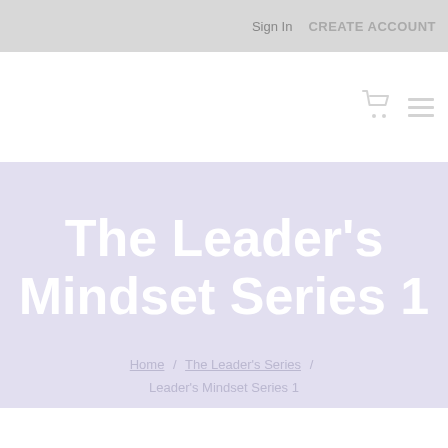Sign In   CREATE ACCOUNT
The Leader’s Mindset Series 1
Home / The Leader’s Series / Leader’s Mindset Series 1